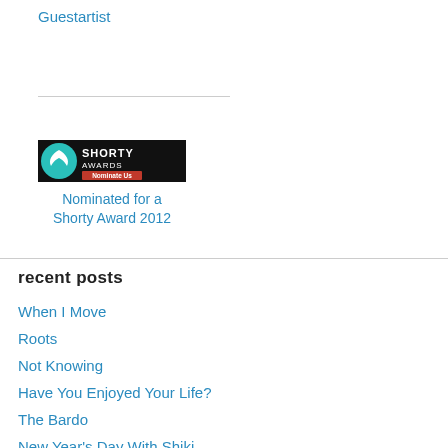Guestartist
[Figure (logo): Shorty Awards badge with teal whale-tail logo and 'SHORTY AWARDS Nominate Us' text on black background]
Nominated for a Shorty Award 2012
recent posts
When I Move
Roots
Not Knowing
Have You Enjoyed Your Life?
The Bardo
New Year's Day With Shiki